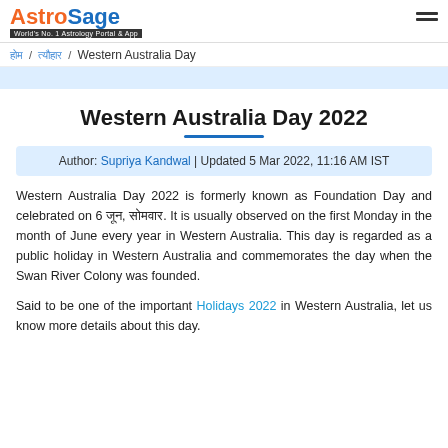AstroSage — World's No. 1 Astrology Portal & App
होम / त्यौहार / Western Australia Day
Western Australia Day 2022
Author: Supriya Kandwal | Updated 5 Mar 2022, 11:16 AM IST
Western Australia Day 2022 is formerly known as Foundation Day and celebrated on 6 जून, सोमवार. It is usually observed on the first Monday in the month of June every year in Western Australia. This day is regarded as a public holiday in Western Australia and commemorates the day when the Swan River Colony was founded.
Said to be one of the important Holidays 2022 in Western Australia, let us know more details about this day.